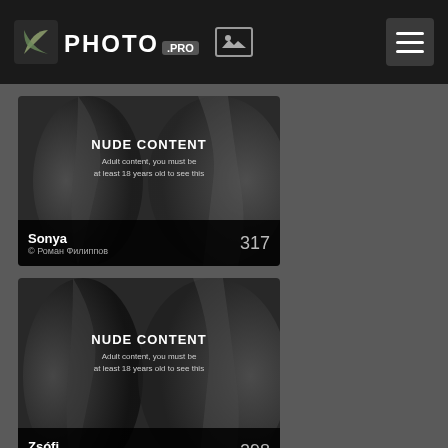3S PHOTO .PRO
[Figure (photo): Photo card with nude content warning overlay. Title: Sonya, Author: © Роман Филиппов, count: 317]
[Figure (photo): Photo card with nude content warning overlay. Title: Zsófi, Author: © Lajos Csáki, count: 298]